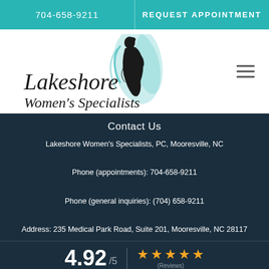704-658-9211 | REQUEST APPOINTMENT
[Figure (logo): Lakeshore Women's Specialists logo with stylized pregnant woman figure in teal and black text]
Contact Us
Lakeshore Women's Specialists, PC, Mooresville, NC
Phone (appointments): 704-658-9211
Phone (general inquiries): (704) 658-9211
Address: 235 Medical Park Road, Suite 201, Mooresville, NC 28117
4.92 / 5 ★★★★★